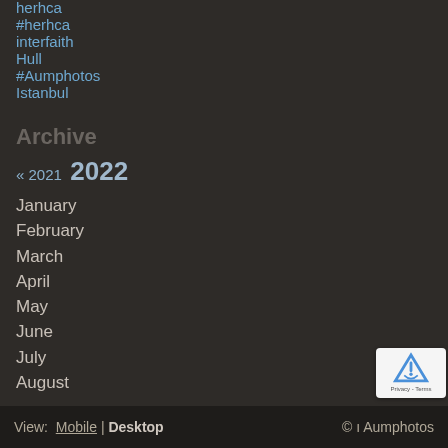herhca
#herhca
interfaith
Hull
#Aumphotos
Istanbul
Archive
« 2021 2022
January
February
March
April
May
June
July
August
View: Mobile | Desktop  © ı Aumphotos